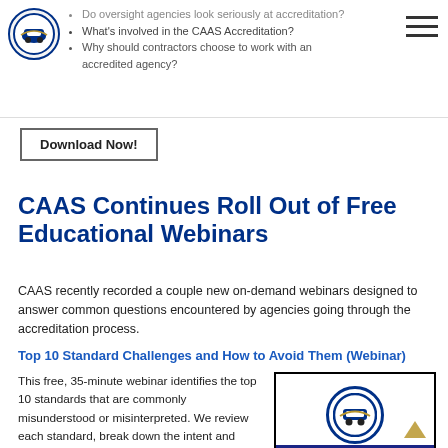Do oversight agencies look seriously at accreditation? What's involved in the CAAS Accreditation? Why should contractors choose to work with an accredited agency?
Do oversight agencies look seriously at accreditation?
What's involved in the CAAS Accreditation?
Why should contractors choose to work with an accredited agency?
Download Now!
CAAS Continues Roll Out of Free Educational Webinars
CAAS recently recorded a couple new on-demand webinars designed to answer common questions encountered by agencies going through the accreditation process.
Top 10 Standard Challenges and How to Avoid Them (Webinar)
This free, 35-minute webinar identifies the top 10 standards that are commonly misunderstood or misinterpreted. We review each standard, break down the intent and interpretation of each one, and discuss how to avoid them.
[Figure (screenshot): Video thumbnail showing CAAS accreditation webinar with logo and 'How to Develop Policies and Procedures' text on a blue bar]